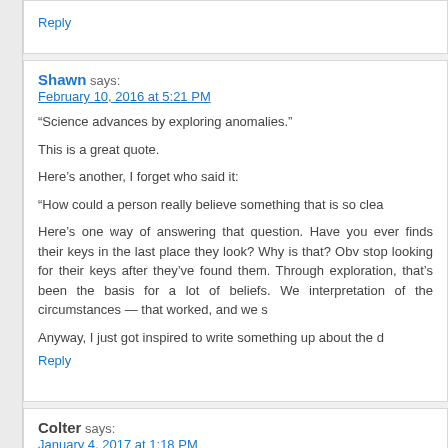Reply
Shawn says:
February 10, 2016 at 5:21 PM
“Science advances by exploring anomalies.”
This is a great quote.
Here’s another, I forget who said it:
“How could a person really believe something that is so clea…
Here’s one way of answering that question. Have you ever… finds their keys in the last place they look? Why is that? Obv… stop looking for their keys after they’ve found them. Through… exploration, that’s been the basis for a lot of beliefs. We… interpretation of the circumstances — that worked, and we s…
Anyway, I just got inspired to write something up about the d…
Reply
Colter says:
January 4, 2017 at 1:18 PM
Hi Mike, as I was thinking about magick today a question… isn’t magick more prominent in our world?
I suppose that religions have their own ethereal softwa…